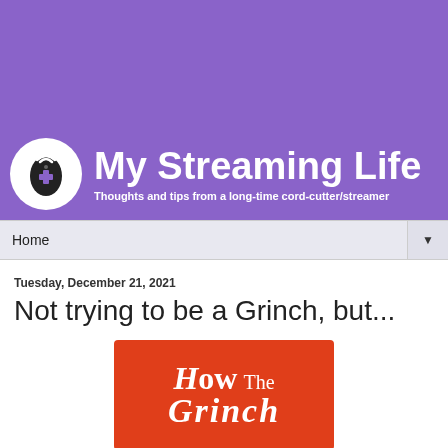[Figure (logo): Purple banner header with My Streaming Life logo: white circle with remote control icon, large white bold site title 'My Streaming Life', and tagline 'Thoughts and tips from a long-time cord-cutter/streamer']
Home ▼
Tuesday, December 21, 2021
Not trying to be a Grinch, but...
[Figure (photo): Book cover of 'How the Grinch Stole Christmas' on an orange-red background showing partial title text 'How The' and beginning of 'Grinch']